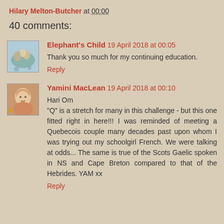Hilary Melton-Butcher at 00:00
40 comments:
Elephant's Child 19 April 2018 at 00:05
Thank you so much for my continuing education.
Reply
Yamini MacLean 19 April 2018 at 00:10
Hari Om
"Q" is a stretch for many in this challenge - but this one fitted right in here!!! I was reminded of meeting a Quebecois couple many decades past upon whom I was trying out my schoolgirl French. We were talking at odds... The same is true of the Scots Gaelic spoken in NS and Cape Breton compared to that of the Hebrides. YAM xx
Reply